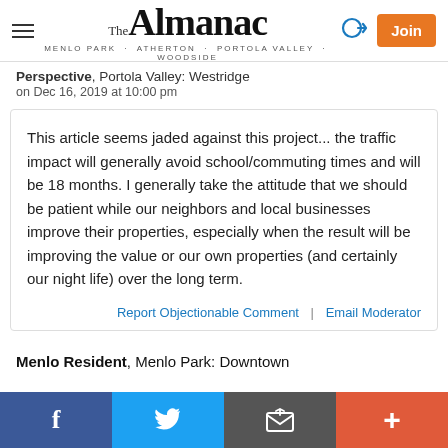The Almanac — Menlo Park · Atherton · Portola Valley · Woodside
Perspective, Portola Valley: Westridge
on Dec 16, 2019 at 10:00 pm
This article seems jaded against this project... the traffic impact will generally avoid school/commuting times and will be 18 months. I generally take the attitude that we should be patient while our neighbors and local businesses improve their properties, especially when the result will be improving the value or our own properties (and certainly our night life) over the long term.
Report Objectionable Comment  |  Email Moderator
Menlo Resident, Menlo Park: Downtown